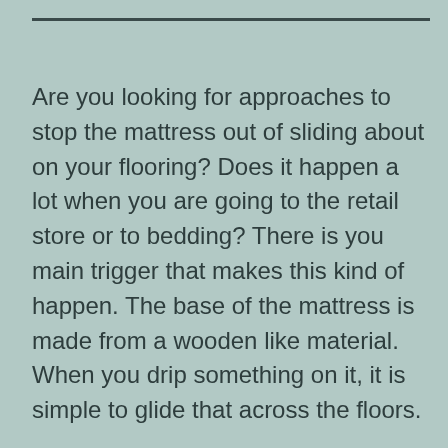Are you looking for approaches to stop the mattress out of sliding about on your flooring? Does it happen a lot when you are going to the retail store or to bedding? There is you main trigger that makes this kind of happen. The base of the mattress is made from a wooden like material. When you drip something on it, it is simple to glide that across the floors.
So how do you prevent mattress from moving? A way that you can use is usually to put down